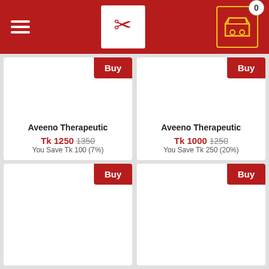Navigation header with menu, logo, and cart (0 items)
[Figure (screenshot): E-commerce app header with red background, hamburger menu on left, scissors/coupon logo in center, shopping cart icon with badge showing 0 on right]
Aveeno Therapeutic
Tk 1250 1350
You Save Tk 100 (7%)
Aveeno Therapeutic
Tk 1000 1250
You Save Tk 250 (20%)
Product card 3 with Buy button
Product card 4 with Buy button